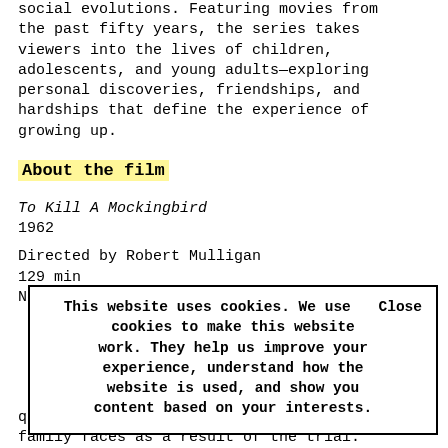social evolutions. Featuring movies from the past fifty years, the series takes viewers into the lives of children, adolescents, and young adults—exploring personal discoveries, friendships, and hardships that define the experience of growing up.
About the film
To Kill A Mockingbird
1962
Directed by Robert Mulligan
129 min
Not Rated
This website uses cookies. We use cookies to make this website work. They help us improve your experience, understand how the website is used, and show you content based on your interests.   Close
quickly in the face of prejudice that their family faces as a result of the trial.